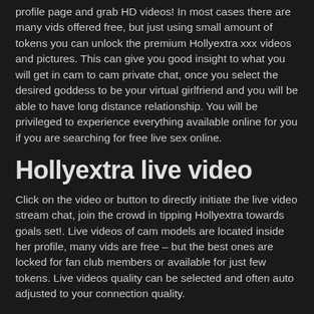profile page and grab HD videos! In most cases there are many vids offered free, but just using small amount of tokens you can unlock the premium Hollyextra xxx videos and pictures. This can give you good insight to what you will get in cam to cam private chat, once you select the desired goddess to be your virtual girlfriend and you will be able to have long distance relationship. You will be privileged to experience everything available online for you if you are searching for free live sex online.
Hollyextra live video
Click on the video or button to directly initiate the live video stream chat, join the crowd in tipping Hollyextra towards goals set!. Live videos of cam models are located inside her profile, many vids are free – but the best ones are locked for fan club members or available for just few tokens. Live videos quality can be selected and often auto adjusted to your connection quality.
Hollyextra free chat